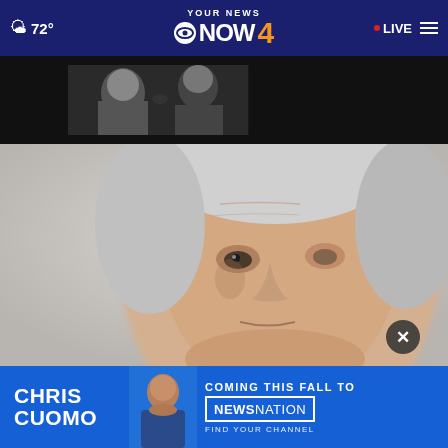72° YOUR NEWS NOW CBS 4 LIVE
[Figure (photo): Black and white photo banner showing two people, appears to be an advertisement or promotional image]
[Figure (photo): Close-up portrait photo of an older man with white/gray hair, slightly out of focus, light gray background]
[Figure (photo): Chris Cuomo Coming This Fall To NewsNation advertisement banner with blue background showing Chris Cuomo in a suit]